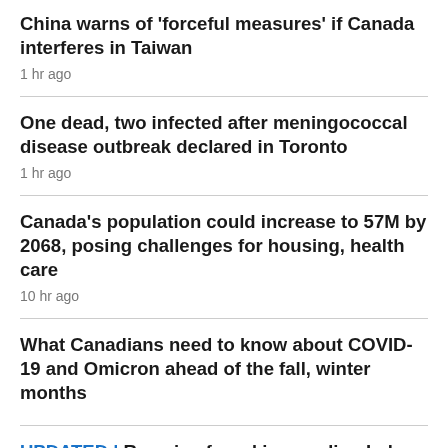China warns of 'forceful measures' if Canada interferes in Taiwan
1 hr ago
One dead, two infected after meningococcal disease outbreak declared in Toronto
1 hr ago
Canada's population could increase to 57M by 2068, posing challenges for housing, health care
10 hr ago
What Canadians need to know about COVID-19 and Omicron ahead of the fall, winter months
UPDATED | Remains found in receding Lake Mead ID'd as man who reportedly drowned 2 decades ago: officials